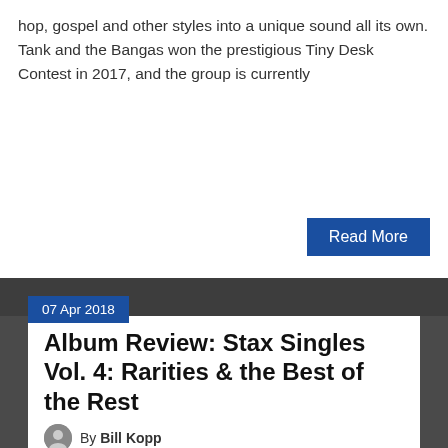hop, gospel and other styles into a unique sound all its own. Tank and the Bangas won the prestigious Tiny Desk Contest in 2017, and the group is currently
Read More
07 Apr 2018
Album Review: Stax Singles Vol. 4: Rarities & the Best of the Rest
By Bill Kopp
compilation, gospel, new release, pop, psych, rawk, review, soul
[Figure (photo): Album cover for Stax Singles Vol. 4 box set showing vinyl records with red/yellow Stax label design and black and white band photo]
Beginning in the early 1990s, the labels owning the Stax/Volt catalog set about releasing impressive box sets of classic material from the venerated yet ultimately troubled Memphis record label. 1991 saw the release of the